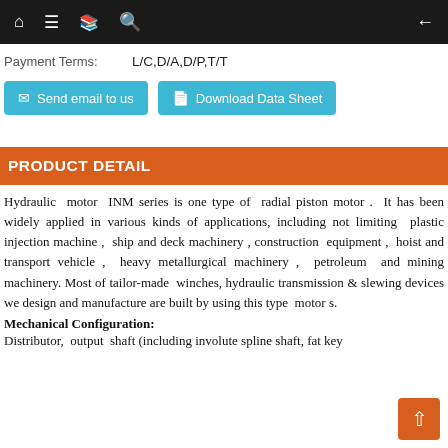Navigation bar with home, menu, book, search icons and back arrow
Payment Terms: L/C,D/A,D/P,T/T
[Figure (other): Two buttons: Send email to us and Download Data Sheet]
PRODUCT DETAIL
Hydraulic motor INM series is one type of radial piston motor . It has been widely applied in various kinds of applications, including not limiting plastic injection machine , ship and deck machinery , construction equipment , hoist and transport vehicle , heavy metallurgical machinery , petroleum and mining machinery. Most of tailor-made winches, hydraulic transmission & slewing devices we design and manufacture are built by using this type motor s.
Mechanical Configuration:
Distributor, output shaft (including involute spline shaft, fat key